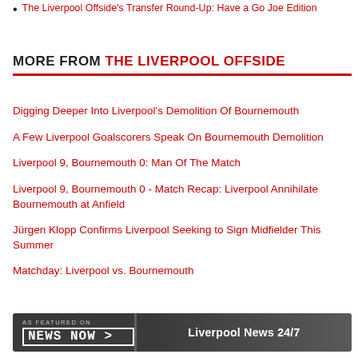The Liverpool Offside's Transfer Round-Up: Have a Go Joe Edition
MORE FROM THE LIVERPOOL OFFSIDE
Digging Deeper Into Liverpool's Demolition Of Bournemouth
A Few Liverpool Goalscorers Speak On Bournemouth Demolition
Liverpool 9, Bournemouth 0: Man Of The Match
Liverpool 9, Bournemouth 0 - Match Recap: Liverpool Annihilate Bournemouth at Anfield
Jürgen Klopp Confirms Liverpool Seeking to Sign Midfielder This Summer
Matchday: Liverpool vs. Bournemouth
[Figure (other): Footer banner: AS FEATURED ON / NEWS NOW logo on dark grey background with 'Liverpool News 24/7' text on right]